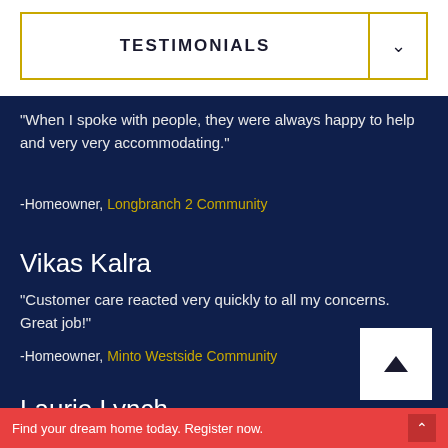TESTIMONIALS
"When I spoke with people, they were always happy to help and very very accommodating."
-Homeowner, Longbranch 2 Community
Vikas Kalra
"Customer care reacted very quickly to all my concerns. Great job!"
-Homeowner, Minto Westside Community
Laurie Lynch
"Quality finishes, beautiful... answered quick...
Find your dream home today. Register now.